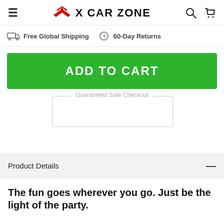X CAR ZONE
Free Global Shipping   60-Day Returns
ADD TO CART
Guaranteed Safe Checkout
Product Details
The fun goes wherever you go. Just be the light of the party.